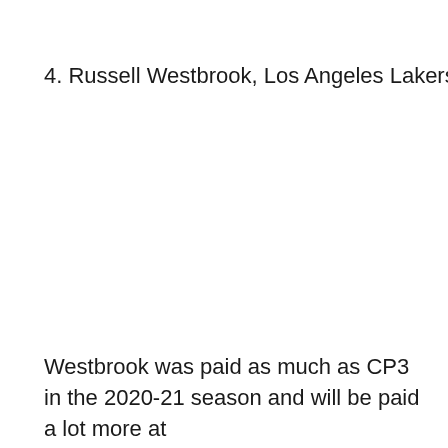4. Russell Westbrook, Los Angeles Lakers
Westbrook was paid as much as CP3 in the 2020-21 season and will be paid a lot more at